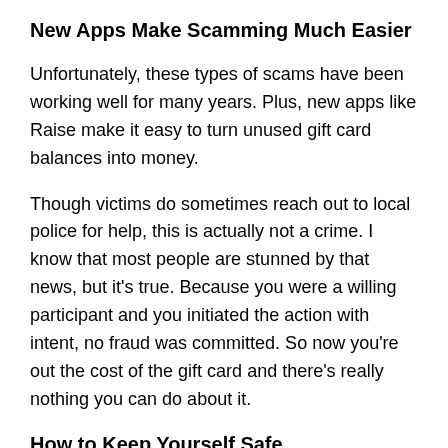New Apps Make Scamming Much Easier
Unfortunately, these types of scams have been working well for many years. Plus, new apps like Raise make it easy to turn unused gift card balances into money.
Though victims do sometimes reach out to local police for help, this is actually not a crime. I know that most people are stunned by that news, but it's true. Because you were a willing participant and you initiated the action with intent, no fraud was committed. So now you're out the cost of the gift card and there's really nothing you can do about it.
How to Keep Yourself Safe